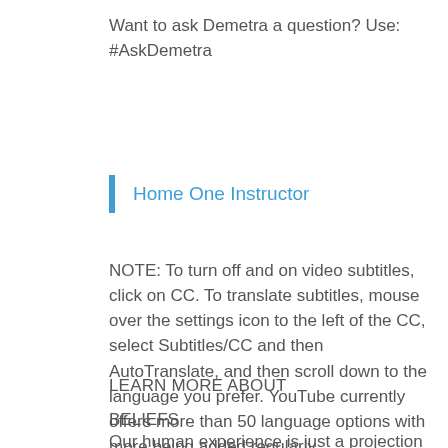Want to ask Demetra a question? Use:
#AskDemetra
Home One Instructor
NOTE: To turn off and on video subtitles, click on CC. To translate subtitles, mouse over the settings icon to the left of the CC, select Subtitles/CC and then AutoTranslate, and then scroll down to the language you prefer. YouTube currently offers more than 50 language options with more being added regularly.
LEARN MORE ABOUT
BELIEFS
Our human experience is just a projection of our